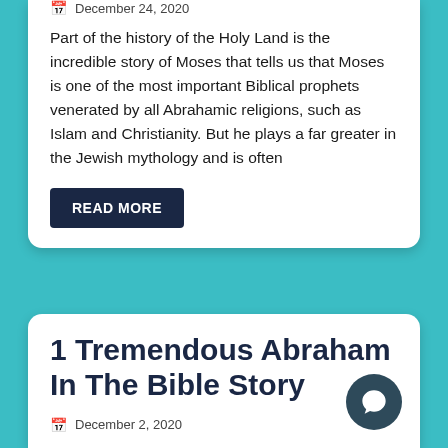December 24, 2020
Part of the history of the Holy Land is the incredible story of Moses that tells us that Moses is one of the most important Biblical prophets venerated by all Abrahamic religions, such as Islam and Christianity. But he plays a far greater in the Jewish mythology and is often
READ MORE
1 Tremendous Abraham In The Bible Story
December 2, 2020